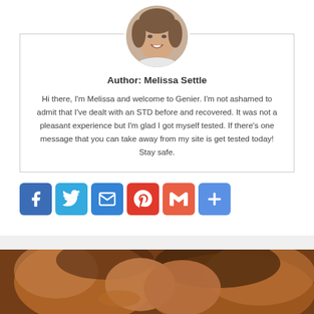[Figure (photo): Circular portrait photo of Melissa Settle, a woman with brown hair, smiling]
Author: Melissa Settle
Hi there, I'm Melissa and welcome to Genier. I'm not ashamed to admit that I've dealt with an STD before and recovered. It was not a pleasant experience but I'm glad I got myself tested. If there's one message that you can take away from my site is get tested today! Stay safe.
[Figure (infographic): Social sharing buttons: Facebook, Twitter, Email, Pinterest, Gmail, More]
[Figure (photo): Close-up photo of a couple kissing, warm amber/brown tones]